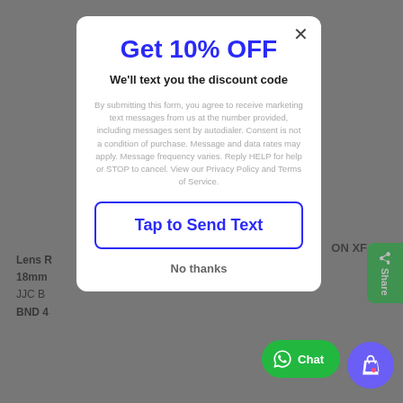[Figure (screenshot): Website popup modal over a blurred e-commerce product page background. The modal offers 10% off via SMS text message.]
Get 10% OFF
We'll text you the discount code
By submitting this form, you agree to receive marketing text messages from us at the number provided, including messages sent by autodialer. Consent is not a condition of purchase. Message and data rates may apply. Message frequency varies. Reply HELP for help or STOP to cancel. View our Privacy Policy and Terms of Service.
Tap to Send Text
No thanks